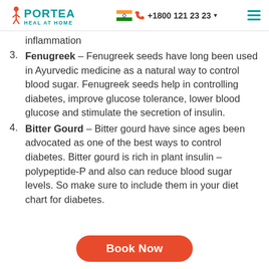PORTEA HEAL AT HOME | +1800 121 2323
inflammation
Fenugreek – Fenugreek seeds have long been used in Ayurvedic medicine as a natural way to control blood sugar. Fenugreek seeds help in controlling diabetes, improve glucose tolerance, lower blood glucose and stimulate the secretion of insulin.
Bitter Gourd – Bitter gourd have since ages been advocated as one of the best ways to control diabetes. Bitter gourd is rich in plant insulin – polypeptide-P and also can reduce blood sugar levels. So make sure to include them in your diet chart for diabetes.